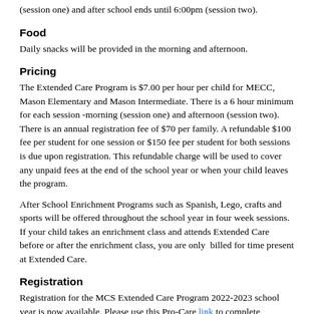(session one) and after school ends until 6:00pm (session two).
Food
Daily snacks will be provided in the morning and afternoon.
Pricing
The Extended Care Program is $7.00 per hour per child for MECC, Mason Elementary and Mason Intermediate. There is a 6 hour minimum for each session -morning (session one) and afternoon (session two). There is an annual registration fee of $70 per family. A refundable $100 fee per student for one session or $150 fee per student for both sessions is due upon registration. This refundable charge will be used to cover any unpaid fees at the end of the school year or when your child leaves the program.
After School Enrichment Programs such as Spanish, Lego, crafts and sports will be offered throughout the school year in four week sessions. If your child takes an enrichment class and attends Extended Care before or after the enrichment class, you are only billed for time present at Extended Care.
Registration
Registration for the MCS Extended Care Program 2022-2023 school year is now available. Please use this Pro-Care link to complete registration. If you are registering multiple children, be sure to enter all children at the same time. Once your registration is complete, you will receive a separate email with a link to log in to your ProCare account for your registration fee and any